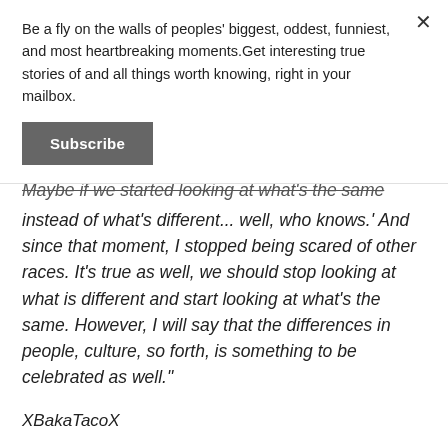Be a fly on the walls of peoples' biggest, oddest, funniest, and most heartbreaking moments.Get interesting true stories of and all things worth knowing, right in your mailbox.
Subscribe
Maybe if we started looking at what's the same instead of what's different... well, who knows.' And since that moment, I stopped being scared of other races. It's true as well, we should stop looking at what is different and start looking at what's the same. However, I will say that the differences in people, culture, so forth, is something to be celebrated as well."
XBakaTacoX